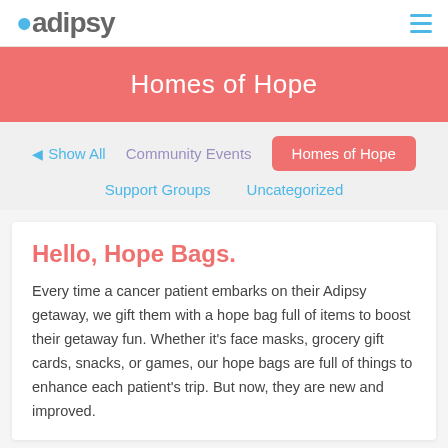adipsy  ≡
Homes of Hope
Show All
Community Events
Homes of Hope
Support Groups
Uncategorized
Hello, Hope Bags.
Every time a cancer patient embarks on their Adipsy getaway, we gift them with a hope bag full of items to boost their getaway fun. Whether it's face masks, grocery gift cards, snacks, or games, our hope bags are full of things to enhance each patient's trip. But now, they are new and improved.